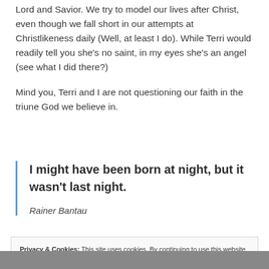Lord and Savior. We try to model our lives after Christ, even though we fall short in our attempts at Christlikeness daily (Well, at least I do). While Terri would readily tell you she's no saint, in my eyes she's an angel (see what I did there?)
Mind you, Terri and I are not questioning our faith in the triune God we believe in.
I might have been born at night, but it wasn't last night.

— Rainer Bantau
Privacy & Cookies: This site uses cookies. By continuing to use this website, you agree to their use.
To find out more, including how to control cookies, see here: Cookie Policy
Close and accept